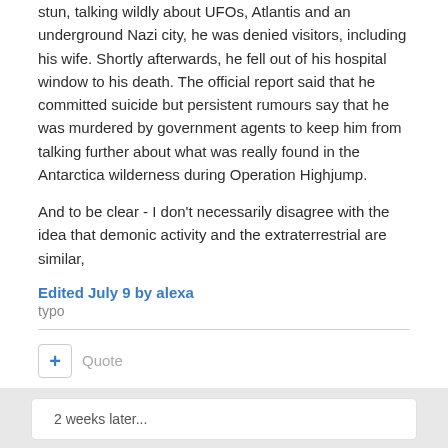stun, talking wildly about UFOs, Atlantis and an underground Nazi city, he was denied visitors, including his wife. Shortly afterwards, he fell out of his hospital window to his death. The official report said that he committed suicide but persistent rumours say that he was murdered by government agents to keep him from talking further about what was really found in the Antarctica wilderness during Operation Highjump.
And to be clear - I don't necessarily disagree with the idea that demonic activity and the extraterrestrial are similar,
Edited July 9 by alexa
typo
Quote
2 weeks later...
alexa
Posted July 20